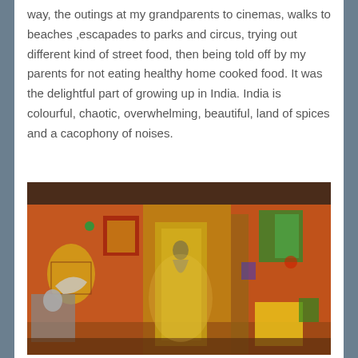way, the outings at my grandparents to cinemas, walks to beaches ,escapades to parks and circus, trying out different kind of street food, then being told off by my parents for not eating healthy home cooked food. It was the delightful part of growing up in India. India is colourful, chaotic, overwhelming, beautiful, land of spices and a cacophony of noises.
[Figure (photo): Interior of a colorful Indian art gallery or decorated room with traditional folk art, paintings, and sculptures mounted on warm orange-red walls. Various mythological and cultural figures are depicted in vibrant colors.]